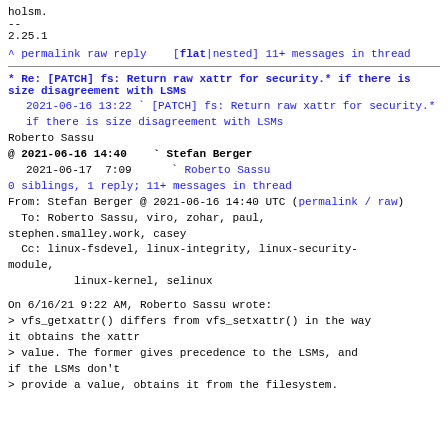holsm.
--
2.25.1
^ permalink raw reply   [flat|nested] 11+ messages in thread
* Re: [PATCH] fs: Return raw xattr for security.* if there is size disagreement with LSMs
2021-06-16 13:22 ` [PATCH] fs: Return raw xattr for security.* if there is size disagreement with LSMs Roberto Sassu
@ 2021-06-16 14:40   ` Stefan Berger
  2021-06-17  7:09     ` Roberto Sassu
  0 siblings, 1 reply; 11+ messages in thread
From: Stefan Berger @ 2021-06-16 14:40 UTC (permalink / raw)
  To: Roberto Sassu, viro, zohar, paul, stephen.smalley.work, casey
  Cc: linux-fsdevel, linux-integrity, linux-security-module,
          linux-kernel, selinux
On 6/16/21 9:22 AM, Roberto Sassu wrote:
> vfs_getxattr() differs from vfs_setxattr() in the way it obtains the xattr
> value. The former gives precedence to the LSMs, and if the LSMs don't
> provide a value, obtains it from the filesystem.